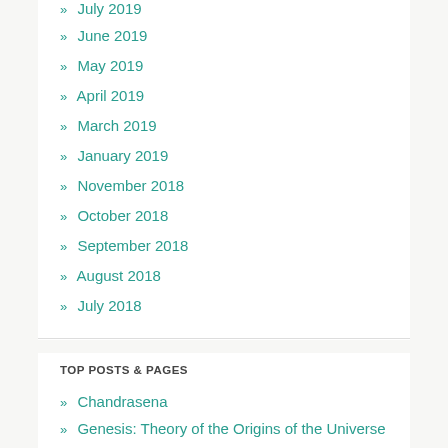» July 2019
» June 2019
» May 2019
» April 2019
» March 2019
» January 2019
» November 2018
» October 2018
» September 2018
» August 2018
» July 2018
TOP POSTS & PAGES
» Chandrasena
» Genesis: Theory of the Origins of the Universe